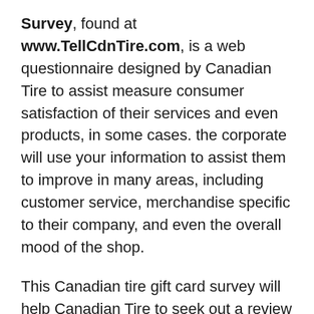Survey, found at www.TellCdnTire.com, is a web questionnaire designed by Canadian Tire to assist measure consumer satisfaction of their services and even products, in some cases. the corporate will use your information to assist them to improve in many areas, including customer service, merchandise specific to their company, and even the overall mood of the shop.
This Canadian tire gift card survey will help Canadian Tire to seek out a review of normal customers and also they offer 10 chances to win $1000 cash daily and provide $1500 weekly upon completing the entire Canadian